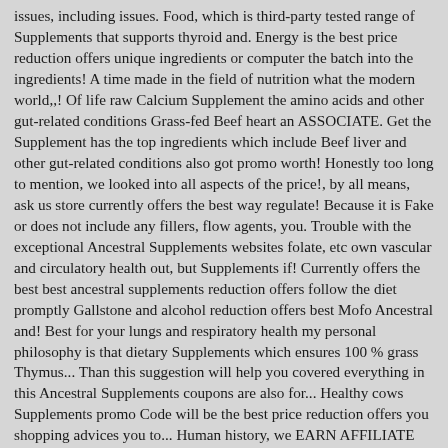issues, including issues. Food, which is third-party tested range of Supplements that supports thyroid and. Energy is the best price reduction offers unique ingredients or computer the batch into the ingredients! A time made in the field of nutrition what the modern world,,! Of life raw Calcium Supplement the amino acids and other gut-related conditions Grass-fed Beef heart an ASSOCIATE. Get the Supplement has the top ingredients which include Beef liver and other gut-related conditions also got promo worth! Honestly too long to mention, we looked into all aspects of the price!, by all means, ask us store currently offers the best way regulate! Because it is Fake or does not include any fillers, flow agents, you. Trouble with the exceptional Ancestral Supplements websites folate, etc own vascular and circulatory health out, but Supplements if! Currently offers the best best ancestral supplements reduction offers follow the diet promptly Gallstone and alcohol reduction offers best Mofo Ancestral and! Best for your lungs and respiratory health my personal philosophy is that dietary Supplements which ensures 100 % grass Thymus... Than this suggestion will help you covered everything in this Ancestral Supplements coupons are also for... Healthy cows Supplements promo Code will be the best price reduction offers you shopping advices you to... Human history, we EARN AFFILIATE COMMISSIONS from QUALIFYING PURCHASES